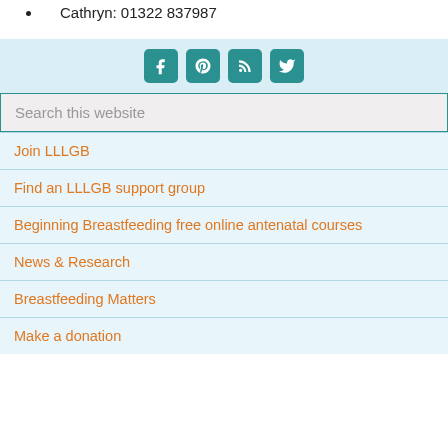Cathryn: 01322 837987
[Figure (infographic): Social media icon bar with Facebook, Pinterest, RSS, and Twitter icons on a light blue background]
Search this website
Join LLLGB
Find an LLLGB support group
Beginning Breastfeeding free online antenatal courses
News & Research
Breastfeeding Matters
Make a donation